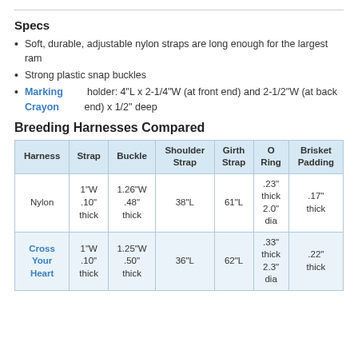Specs
Soft, durable, adjustable nylon straps are long enough for the largest ram
Strong plastic snap buckles
Marking Crayon holder: 4"L x 2-1/4"W (at front end) and 2-1/2"W (at back end) x 1/2" deep
Breeding Harnesses Compared
| Harness | Strap | Buckle | Shoulder Strap | Girth Strap | O Ring | Brisket Padding |
| --- | --- | --- | --- | --- | --- | --- |
| Nylon | 1"W .10" thick | 1.26"W .48" thick | 38"L | 61"L | .23" thick 2.0" dia | .17" thick |
| Cross Your Heart | 1"W .10" thick | 1.25"W .50" thick | 36"L | 62"L | .33" thick 2.3" dia | .22" thick |